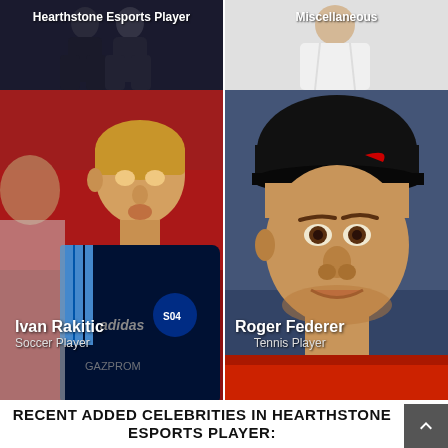[Figure (photo): Top-left photo: Hearthstone Esports Player with dark background showing a person silhouette, labeled 'Hearthstone Esports Player']
[Figure (photo): Top-right photo: Miscellaneous category image with light background, labeled 'Miscellaneous']
[Figure (photo): Main left photo: Ivan Rakitic in a dark Schalke jersey with blue accents playing soccer, labeled 'Ivan Rakitic / Soccer Player']
[Figure (photo): Main right photo: Roger Federer wearing a black Nike cap, close-up face shot, labeled 'Roger Federer / Tennis Player']
RECENT ADDED CELEBRITIES IN HEARTHSTONE ESPORTS PLAYER: